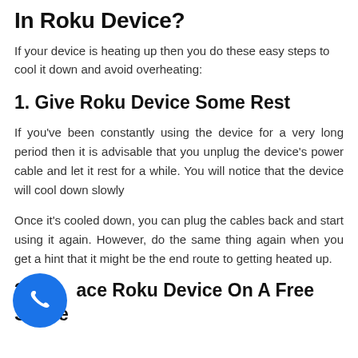In Roku Device?
If your device is heating up then you do these easy steps to cool it down and avoid overheating:
1. Give Roku Device Some Rest
If you've been constantly using the device for a very long period then it is advisable that you unplug the device's power cable and let it rest for a while. You will notice that the device will cool down slowly
Once it's cooled down, you can plug the cables back and start using it again. However, do the same thing again when you get a hint that it might be the end route to getting heated up.
2. Place Roku Device On A Free Space